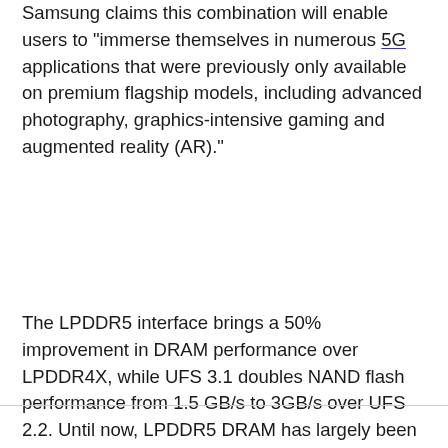Samsung claims this combination will enable users to "immerse themselves in numerous 5G applications that were previously only available on premium flagship models, including advanced photography, graphics-intensive gaming and augmented reality (AR)."
The LPDDR5 interface brings a 50% improvement in DRAM performance over LPDDR4X, while UFS 3.1 doubles NAND flash performance from 1.5 GB/s to 3GB/s over UFS 2.2. Until now, LPDDR5 DRAM has largely been limited to the best Android phones in the flagship segment.